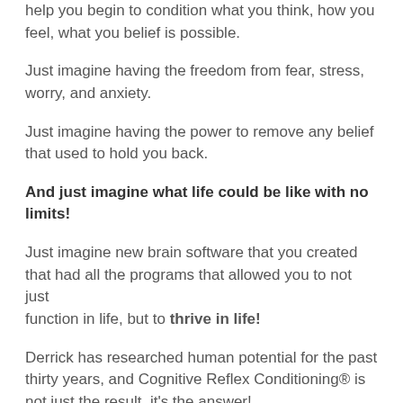help you begin to condition what you think, how you feel, what you belief is possible.
Just imagine having the freedom from fear, stress, worry, and anxiety.
Just imagine having the power to remove any belief that used to hold you back.
And just imagine what life could be like with no limits!
Just imagine new brain software that you created that had all the programs that allowed you to not just function in life, but to thrive in life!
Derrick has researched human potential for the past thirty years, and Cognitive Reflex Conditioning® is not just the result, it's the answer!
Bonus Module: Cognitive Reflex Conditioning® Exercises